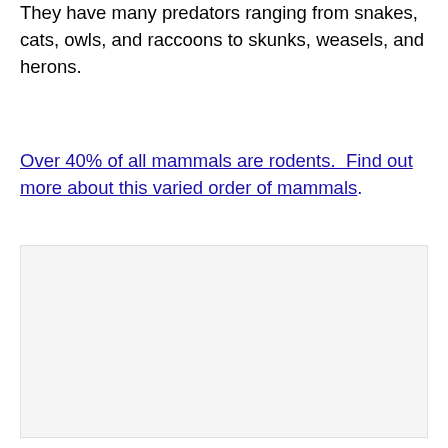They have many predators ranging from snakes, cats, owls, and raccoons to skunks, weasels, and herons.
Over 40% of all mammals are rodents.  Find out more about this varied order of mammals.
[Figure (photo): A light gray rectangular image placeholder area]